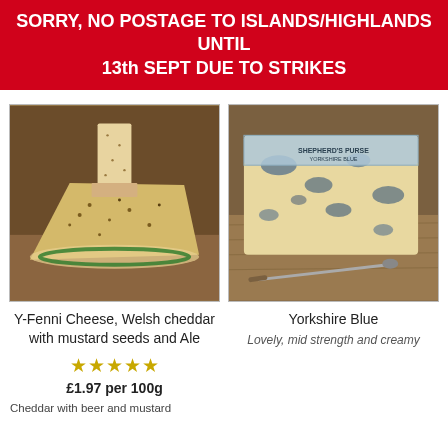SORRY, NO POSTAGE TO ISLANDS/HIGHLANDS UNTIL 13th SEPT DUE TO STRIKES
[Figure (photo): Photo of Y-Fenni Welsh cheddar cheese with mustard seeds and a cracker on top]
Y-Fenni Cheese, Welsh cheddar with mustard seeds and Ale
[Figure (other): Five gold stars rating]
£1.97 per 100g
Cheddar with beer and mustard
[Figure (photo): Photo of Yorkshire Blue cheese block with blue mold on a wooden board with a cheese knife]
Yorkshire Blue
Lovely, mid strength and creamy